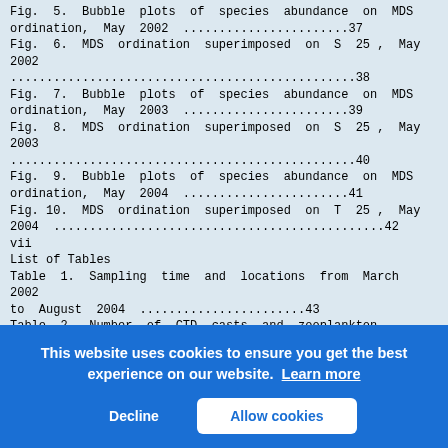Fig. 5. Bubble plots of species abundance on MDS ordination, May 2002 .......................37
Fig. 6. MDS ordination superimposed on S 25 , May 2002 ................................................38
Fig. 7. Bubble plots of species abundance on MDS ordination, May 2003 .......................39
Fig. 8. MDS ordination superimposed on S 25 , May 2003 ................................................40
Fig. 9. Bubble plots of species abundance on MDS ordination, May 2004 .......................41
Fig. 10. MDS ordination superimposed on T 25 , May 2004 ...............................................42
vii
List of Tables
Table 1. Sampling time and locations from March 2002 to August 2004 .......................43
Table 2. Number of CTD casts and zooplankton samples conducted.................................44
Table 3. [partially obscured] above...
Table 4. [partially obscured] corr...
Table 5. [partially obscured] spec...
Table 6. [partially obscured] spec...
Table 7. [partially obscured] spec...
Table 8. [partially obscured] Seward line. ...............................................50